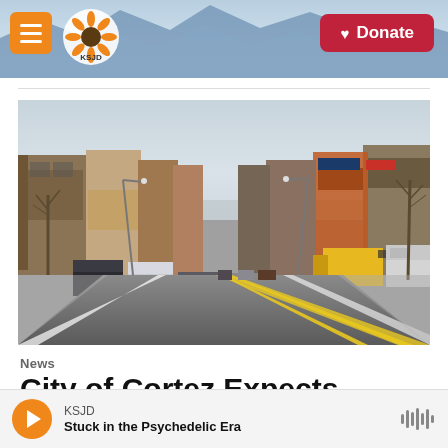KSJD — Navigation menu, Donate button
[Figure (photo): Street-level view looking down a two-lane road in downtown Cortez, Colorado. Commercial storefronts line both sides of the street. Cars are parked along the curbs. A yellow truck is visible on the right. Bare winter trees frame the scene under an overcast sky.]
News
City of Cortez Expects Downtown
KSJD — Stuck in the Psychedelic Era